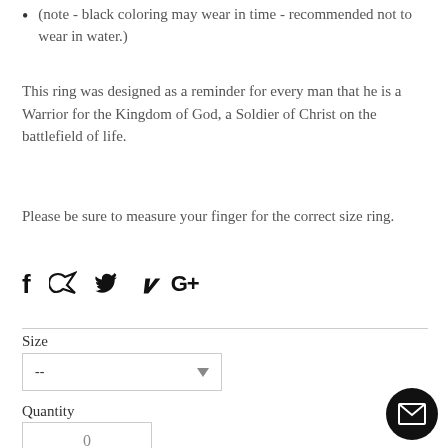(note - black coloring may wear in time - recommended not to wear in water.)
This ring was designed as a reminder for every man that he is a Warrior for the Kingdom of God, a Soldier of Christ on the battlefield of life.
Please be sure to measure your finger for the correct size ring.
[Figure (infographic): Social media icons: Facebook (f), Twitter (bird/arrow), Pinterest (P), Google+ (G+)]
Size
[Figure (screenshot): Dropdown selector box showing '--' with a downward arrow]
Quantity
[Figure (screenshot): Quantity input box showing '0']
[Figure (infographic): Dark circular mail/envelope button in bottom right corner]